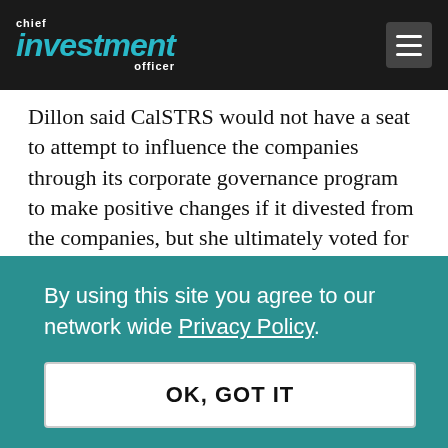chief investment officer
Dillon said CalSTRS would not have a seat to attempt to influence the companies through its corporate governance program to make positive changes if it divested from the companies, but she ultimately voted for the divestment.
Neither CoreCivic or GEO Group housed immigrant children separated from their families but both
By using this site you agree to our network wide Privacy Policy.
OK, GOT IT